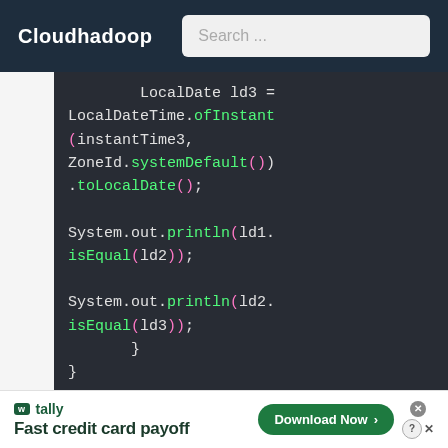Cloudhadoop — Search...
[Figure (screenshot): Java code snippet showing LocalDate ld3 = LocalDateTime.ofInstant(instantTime3, ZoneId.systemDefault()).toLocalDate(); System.out.println(ld1.isEqual(ld2)); System.out.println(ld2.isEqual(ld3)); }  }]
w tally Fast credit card payoff — Download Now →